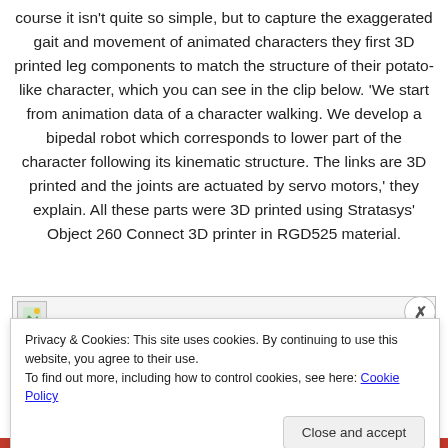course it isn't quite so simple, but to capture the exaggerated gait and movement of animated characters they first 3D printed leg components to match the structure of their potato-like character, which you can see in the clip below. 'We start from animation data of a character walking. We develop a bipedal robot which corresponds to lower part of the character following its kinematic structure. The links are 3D printed and the joints are actuated by servo motors,' they explain. All these parts were 3D printed using Stratasys' Object 260 Connect 3D printer in RGD525 material.
[Figure (screenshot): Partial image/thumbnail with broken image icon in a bordered box, and an X close button overlaid at top right.]
Privacy & Cookies: This site uses cookies. By continuing to use this website, you agree to their use.
To find out more, including how to control cookies, see here: Cookie Policy

Close and accept